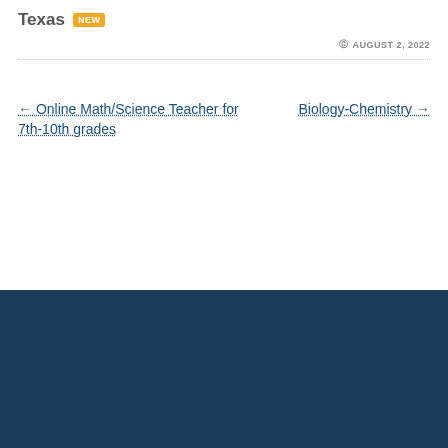Texas NEW
AUGUST 2, 2022
← Online Math/Science Teacher for 7th-10th grades
Biology-Chemistry →